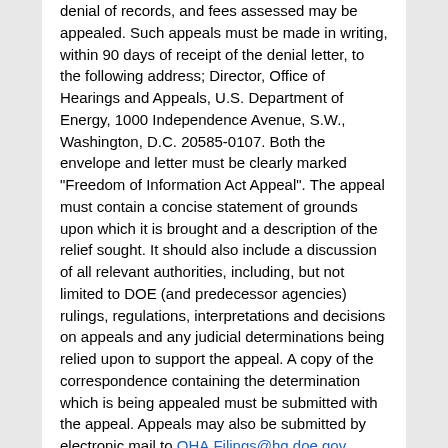denial of records, and fees assessed may be appealed. Such appeals must be made in writing, within 90 days of receipt of the denial letter, to the following address; Director, Office of Hearings and Appeals, U.S. Department of Energy, 1000 Independence Avenue, S.W., Washington, D.C. 20585-0107. Both the envelope and letter must be clearly marked "Freedom of Information Act Appeal". The appeal must contain a concise statement of grounds upon which it is brought and a description of the relief sought. It should also include a discussion of all relevant authorities, including, but not limited to DOE (and predecessor agencies) rulings, regulations, interpretations and decisions on appeals and any judicial determinations being relied upon to support the appeal. A copy of the correspondence containing the determination which is being appealed must be submitted with the appeal. Appeals may also be submitted by electronic mail to OHA.Filings@hq.doe.gov, including the phrase "Freedom of Information Act Appeal" in the subject line.
Judicial review will thereafter be available within the district in which the requester resides or has their principal place of business, in which the Department's